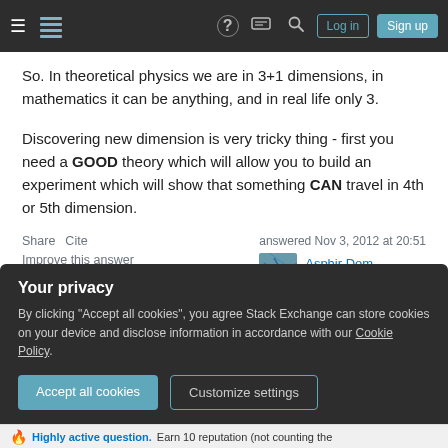Stack Exchange navigation bar with hamburger menu, logo, help, chat, search, Log in, Sign up
So. In theoretical physics we are in 3+1 dimensions, in mathematics it can be anything, and in real life only 3.
Discovering new dimension is very tricky thing - first you need a GOOD theory which will allow you to build an experiment which will show that something CAN travel in 4th or 5th dimension.
Share   Cite
Improve this answer
Follow
answered Nov 3, 2012 at 20:51
Asphir Dom
647 ● 3 ● 15
Your privacy
By clicking "Accept all cookies", you agree Stack Exchange can store cookies on your device and disclose information in accordance with our Cookie Policy.
Accept all cookies   Customize settings
Highly active question. Earn 10 reputation (not counting the